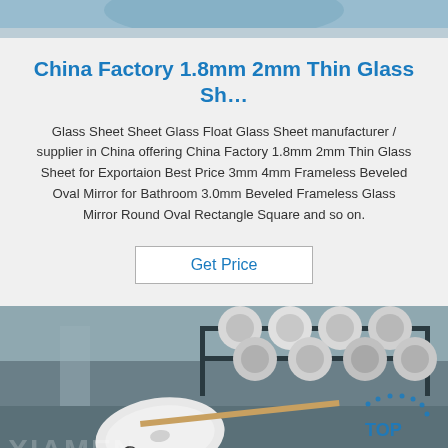[Figure (photo): Partial top image showing glass/industrial product, cropped at top of page]
China Factory 1.8mm 2mm Thin Glass Sh…
Glass Sheet Sheet Glass Float Glass Sheet manufacturer / supplier in China offering China Factory 1.8mm 2mm Thin Glass Sheet for Exportaion Best Price 3mm 4mm Frameless Beveled Oval Mirror for Bathroom 3.0mm Beveled Frameless Glass Mirror Round Oval Rectangle Square and so on.
Get Price
[Figure (photo): Photo of industrial glass/film rolls on a metal shelf rack, with a large white roll in the foreground. Watermark 'XIAMEN' visible at bottom, 'TOP' logo with dots in lower right.]